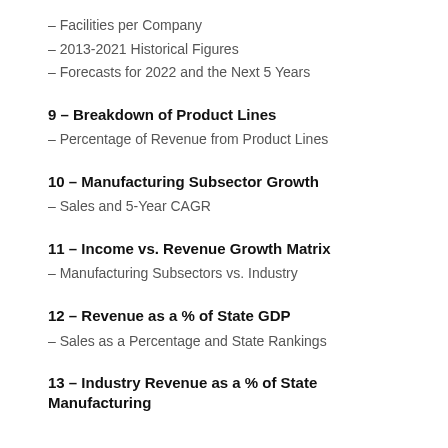– Facilities per Company
– 2013-2021 Historical Figures
– Forecasts for 2022 and the Next 5 Years
9 – Breakdown of Product Lines
– Percentage of Revenue from Product Lines
10 – Manufacturing Subsector Growth
– Sales and 5-Year CAGR
11 – Income vs. Revenue Growth Matrix
– Manufacturing Subsectors vs. Industry
12 – Revenue as a % of State GDP
– Sales as a Percentage and State Rankings
13 – Industry Revenue as a % of State Manufacturing